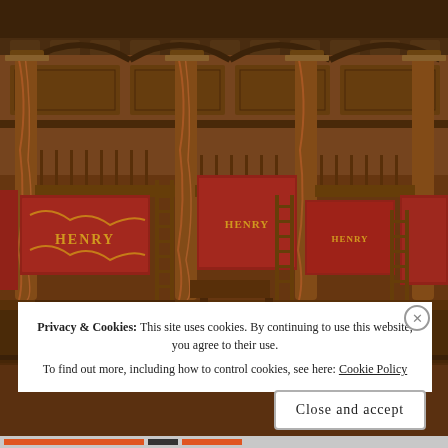[Figure (photo): Interior of Shakespeare's Globe Theatre stage showing ornate wooden structure with columns, balconies decorated with red and gold tapestry banners reading 'HENRY', ladders, and warm amber lighting.]
Privacy & Cookies: This site uses cookies. By continuing to use this website, you agree to their use. To find out more, including how to control cookies, see here: Cookie Policy
Close and accept